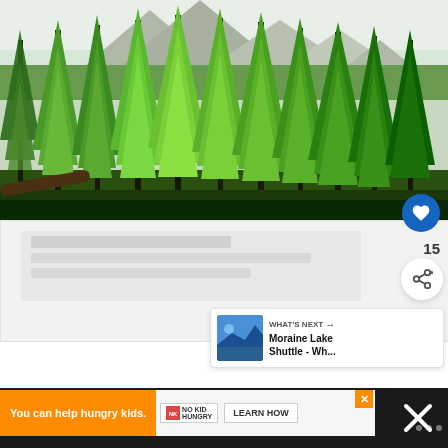[Figure (photo): Forest of tall green conifer/larch trees with rocky mountain peaks visible in the background against a pale sky. Image is a nature/landscape photo.]
[Figure (infographic): Heart (like/favorite) button — blue circle with white heart icon, positioned over the bottom-right of the photo.]
15
[Figure (infographic): Share button — white circle with a share/add icon (forked arrow with plus).]
[Figure (photo): Thumbnail image of Moraine Lake (blue water and mountains) in the 'What's Next' card.]
WHAT'S NEXT → Moraine Lake Shuttle - Wh...
You can help hungry kids.
[Figure (logo): No Kid Hungry logo badge.]
LEARN HOW